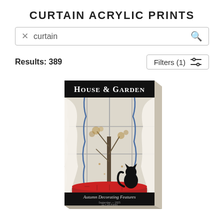CURTAIN ACRYLIC PRINTS
curtain
Results: 389
Filters (1)
[Figure (illustration): House & Garden magazine cover acrylic print showing a black cat silhouette sitting on a red cushion at a large window with lace curtains, autumn trees visible outside. Text reads 'House & Garden' at top and 'Autumn Decorating Features' at bottom. The print is shown as a 3D acrylic block with visible depth on the right and bottom edges.]